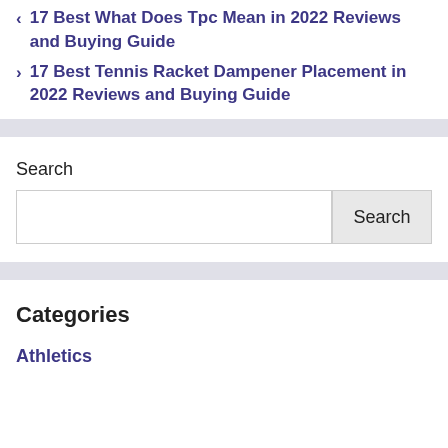< 17 Best What Does Tpc Mean in 2022 Reviews and Buying Guide
> 17 Best Tennis Racket Dampener Placement in 2022 Reviews and Buying Guide
Search
Categories
Athletics